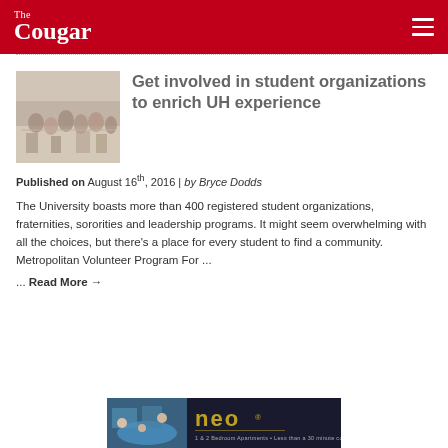The Cougar
Get involved in student organizations to enrich UH experience
Published on August 16th, 2016 | by Bryce Dodds
The University boasts more than 400 registered student organizations, fraternities, sororities and leadership programs. It might seem overwhelming with all the choices, but there's a place for every student to find a community. Metropolitan Volunteer Program For ...
... Read More →
[Figure (photo): Advertisement banner for NEO apartments - 1 & 2 Bedroom Apartments - Less than a 30 minute commute to UH - Luxury Amenities]